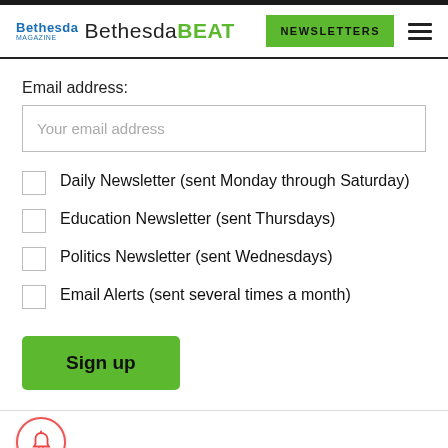Bethesda | Bethesda BEAT | NEWSLETTERS
Email address:
Your email address
Daily Newsletter (sent Monday through Saturday)
Education Newsletter (sent Thursdays)
Politics Newsletter (sent Wednesdays)
Email Alerts (sent several times a month)
Sign up